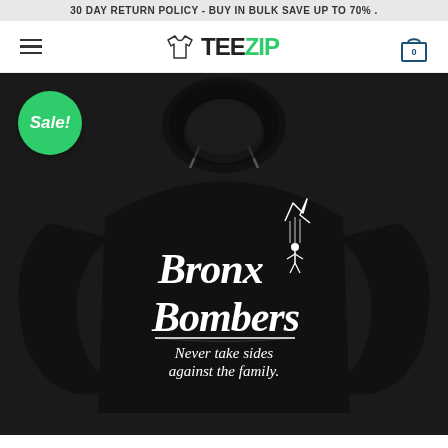30 DAY RETURN POLICY - BUY IN BULK SAVE UP TO 70% .
[Figure (logo): TeeZip logo with t-shirt icon, hamburger menu on left, shopping cart with 0 on right]
[Figure (photo): Black hoodie sweatshirt with 'Bronx Bombers Never take sides against the family.' text and Godfather-style puppet graphic. Sale badge in green circle top-left.]